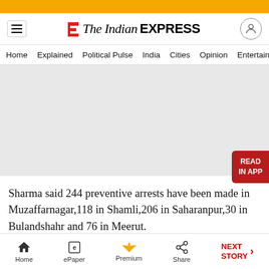The Indian EXPRESS
Home Explained Political Pulse India Cities Opinion Entertainment
[Figure (other): Advertisement placeholder area, grey rectangle]
Sharma said 244 preventive arrests have been made in Muzaffarnagar,118 in Shamli,206 in Saharanpur,30 in Bulandshahr and 76 in Meerut.
Home | ePaper | Premium | Share | NEXT STORY